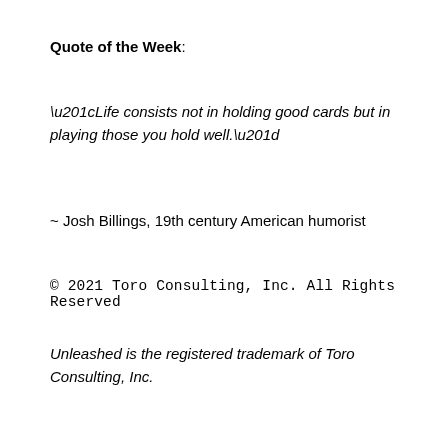Quote of the Week:
“Life consists not in holding good cards but in playing those you hold well.”
~ Josh Billings, 19th century American humorist
© 2021 Toro Consulting, Inc. All Rights Reserved
Unleashed is the registered trademark of Toro Consulting, Inc.